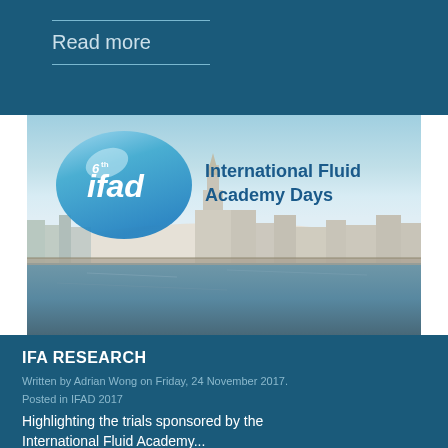Read more
[Figure (photo): 6th IFAD International Fluid Academy Days logo over a cityscape (Antwerp) with river reflection, sky gradient from blue to peach]
IFA RESEARCH
Written by Adrian Wong on Friday, 24 November 2017.
Posted in IFAD 2017
Highlighting the trials sponsored by the International Fluid Academy...